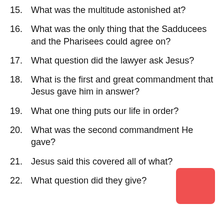15.  What was the multitude astonished at?
16.  What was the only thing that the Sadducees and the Pharisees could agree on?
17.  What question did the lawyer ask Jesus?
18.  What is the first and great commandment that Jesus gave him in answer?
19.  What one thing puts our life in order?
20.  What was the second commandment He gave?
21.  Jesus said this covered all of what?
22.  What question did they give?